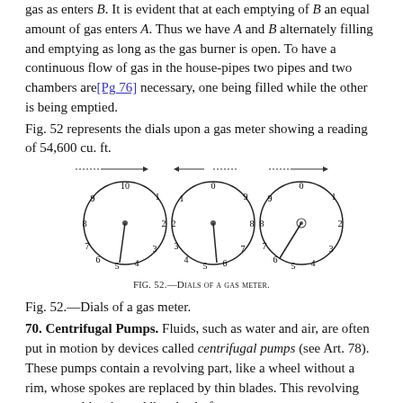gas as enters B. It is evident that at each emptying of B an equal amount of gas enters A. Thus we have A and B alternately filling and emptying as long as the gas burner is open. To have a continuous flow of gas in the house-pipes two pipes and two chambers are[Pg 76] necessary, one being filled while the other is being emptied.
Fig. 52 represents the dials upon a gas meter showing a reading of 54,600 cu. ft.
[Figure (illustration): Three circular dials of a gas meter. Left dial: numbers 10,1,2,3,4,5,6,7,8,9 with arrow pointer near 5. Middle dial: numbers 0,9,8,7,6,5,4,3,2,1 with pointer near 6. Right dial: numbers 0,1,2,3,4,5,6,7,8,9 with pointer near 6.]
Fig. 52.—Dials of a gas meter.
Fig. 52.—Dials of a gas meter.
70. Centrifugal Pumps. Fluids, such as water and air, are often put in motion by devices called centrifugal pumps (see Art. 78). These pumps contain a revolving part, like a wheel without a rim, whose spokes are replaced by thin blades. This revolving part resembles the paddle wheel of some steam